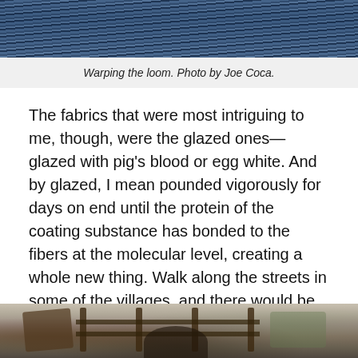[Figure (photo): Close-up of blue threads warping a loom, showing parallel yarn strands in blue tones.]
Warping the loom. Photo by Joe Coca.
The fabrics that were most intriguing to me, though, were the glazed ones—glazed with pig's blood or egg white. And by glazed, I mean pounded vigorously for days on end until the protein of the coating substance has bonded to the fibers at the molecular level, creating a whole new thing. Walk along the streets in some of the villages, and there would be women with big stone mallets pounding and folding, pounding and folding, hour after hour.
[Figure (photo): Outdoor scene showing wooden fence or loom structure with a person or dark figure below, with greenery in the background.]